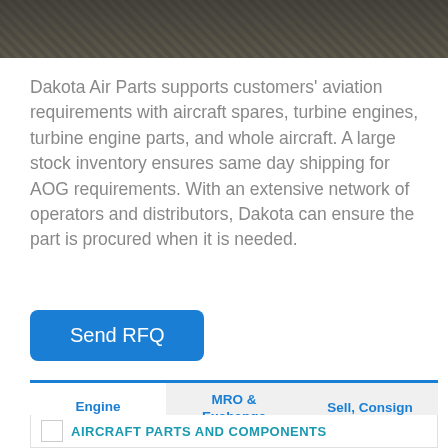[Figure (photo): Dark photo banner showing aircraft engine parts and components at the top of the page]
Dakota Air Parts supports customers' aviation requirements with aircraft spares, turbine engines, turbine engine parts, and whole aircraft. A large stock inventory ensures same day shipping for AOG requirements. With an extensive network of operators and distributors, Dakota can ensure the part is procured when it is needed.
Send RFQ
Engine Platforms
MRO & Exchange Services
Sell, Consign or Trade
AIRCRAFT PARTS AND COMPONENTS